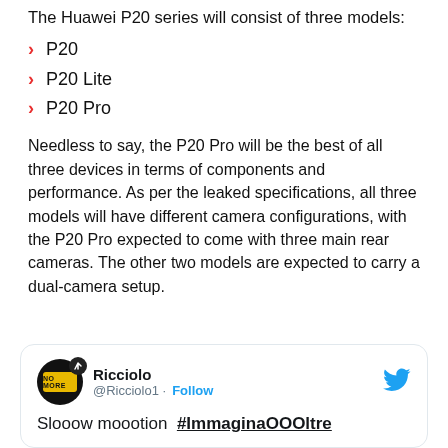The Huawei P20 series will consist of three models:
P20
P20 Lite
P20 Pro
Needless to say, the P20 Pro will be the best of all three devices in terms of components and performance. As per the leaked specifications, all three models will have different camera configurations, with the P20 Pro expected to come with three main rear cameras. The other two models are expected to carry a dual-camera setup.
[Figure (screenshot): Tweet card from @Ricciolo1 with text: Slooow moootion #ImmaginaOOOltre]